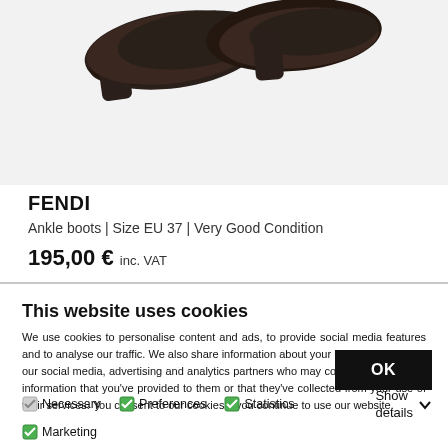[Figure (photo): Dark brown Fendi ankle boots shown from above on light grey background]
FENDI
Ankle boots | Size EU 37 | Very Good Condition
195,00 € inc. VAT
This website uses cookies
We use cookies to personalise content and ads, to provide social media features and to analyse our traffic. We also share information about your use of our site with our social media, advertising and analytics partners who may combine it with other information that you've provided to them or that they've collected from your use of their services. You consent to our cookies if you continue to use our website.
OK
Necessary
Preferences
Statistics
Marketing
Show details